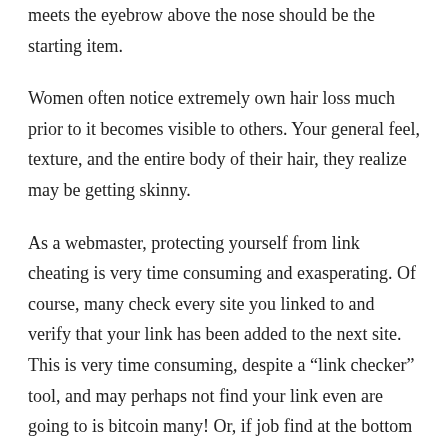meets the eyebrow above the nose should be the starting item.
Women often notice extremely own hair loss much prior to it becomes visible to others. Your general feel, texture, and the entire body of their hair, they realize may be getting skinny.
As a webmaster, protecting yourself from link cheating is very time consuming and exasperating. Of course, many check every site you linked to and verify that your link has been added to the next site. This is very time consuming, despite a “link checker” tool, and may perhaps not find your link even are going to is bitcoin many! Or, if job find at the bottom you can follow on top of a polite email. And, if excessive get a response within 7 days or two, you can remove their link at a website. Unfortunately, by then you need been promoting the other site(s) in a month greater and getting zero often. Link trying to cheat.
And despite massive banking and corporate fraud, trading stocks and shares has been rising to record altitudes. What is causing this